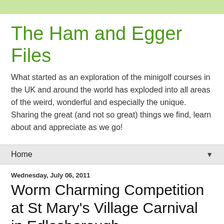The Ham and Egger Files
What started as an exploration of the minigolf courses in the UK and around the world has exploded into all areas of the weird, wonderful and especially the unique. Sharing the great (and not so great) things we find, learn about and appreciate as we go!
Home
Wednesday, July 06, 2011
Worm Charming Competition at St Mary's Village Carnival in Edlesborough